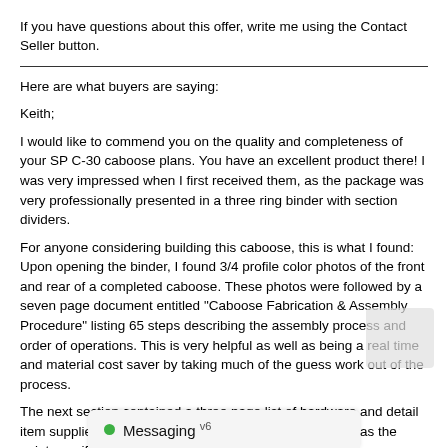If you have questions about this offer, write me using the Contact Seller button.
Here are what buyers are saying:
Keith;
I would like to commend you on the quality and completeness of your SP C-30 caboose plans. You have an excellent product there! I was very impressed when I first received them, as the package was very professionally presented in a three ring binder with section dividers.
For anyone considering building this caboose, this is what I found:
Upon opening the binder, I found 3/4 profile color photos of the front and rear of a completed caboose. These photos were followed by a seven page document entitled "Caboose Fabrication & Assembly Procedure" listing 65 steps describing the assembly process and order of operations. This is very helpful as well as being a real time and material cost saver by taking much of the guess work out of the process.
The next section contained a three page list of hardware and detail item suppliers with all of their contact information as well as the paint specifications.
The third and last section contained a Drawing List, indexing the drawings by drawing number and description. All of the drawings (60 of them) were found in numerical order behind t professionally folded with t